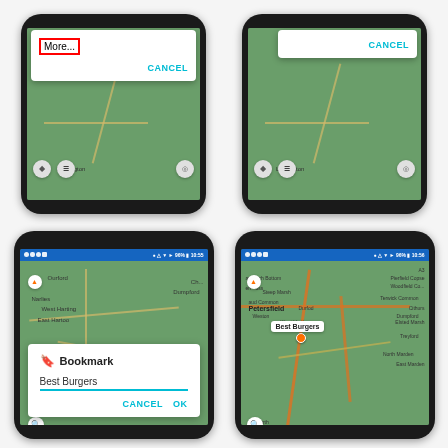[Figure (screenshot): Four smartphone screenshots showing a mapping app. Top-left: dialog popup with 'More...' text (highlighted with red border) and CANCEL button over a map. Top-right: similar map view with CANCEL dialog. Bottom-left: map with Bookmark dialog showing 'Best Burgers' text input with CANCEL and OK buttons. Bottom-right: map showing 'Best Burgers' bookmark label pinned on map near Petersfield area.]